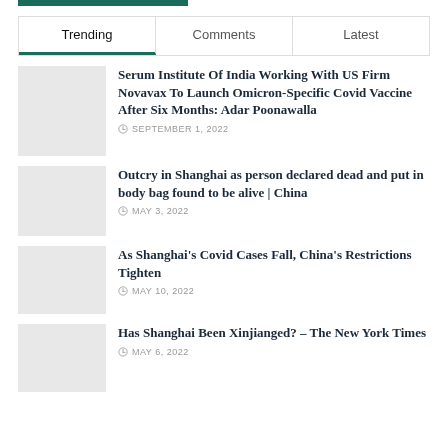Trending | Comments | Latest
Serum Institute Of India Working With US Firm Novavax To Launch Omicron-Specific Covid Vaccine After Six Months: Adar Poonawalla
SEPTEMBER 1, 2022
Outcry in Shanghai as person declared dead and put in body bag found to be alive | China
MAY 3, 2022
As Shanghai's Covid Cases Fall, China's Restrictions Tighten
MAY 10, 2022
Has Shanghai Been Xinjianged? – The New York Times
MAY 6, 2022